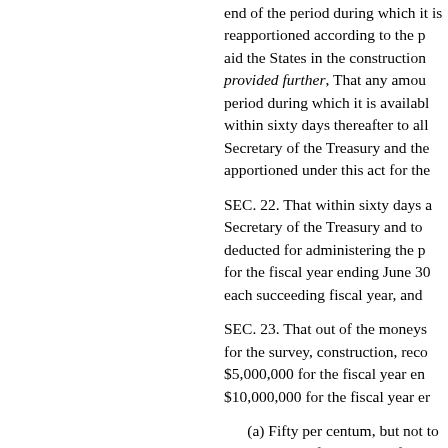end of the period during which it is reapportioned according to the provisions to aid the States in the construction provided further, That any amount period during which it is available within sixty days thereafter to all Secretary of the Treasury and the apportioned under this act for the
SEC. 22. That within sixty days after Secretary of the Treasury and to deducted for administering the provisions for the fiscal year ending June 30 each succeeding fiscal year, and
SEC. 23. That out of the moneys for the survey, construction, reconstruction $5,000,000 for the fiscal year ending $10,000,000 for the fiscal year ending
(a) Fifty per centum, but not to exceed that may hereafter be made for expenditures the direct supervision of the Secretary maintenance of roads and trails on the national forests, or when necessary